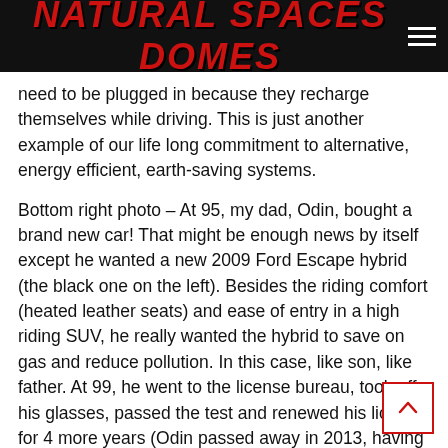NATURAL SPACES DOMES
need to be plugged in because they recharge themselves while driving. This is just another example of our life long commitment to alternative, energy efficient, earth-saving systems.
Bottom right photo – At 95, my dad, Odin, bought a brand new car! That might be enough news by itself except he wanted a new 2009 Ford Escape hybrid (the black one on the left). Besides the riding comfort (heated leather seats) and ease of entry in a high riding SUV, he really wanted the hybrid to save on gas and reduce pollution. In this case, like son, like father. At 99, he went to the license bureau, took off his glasses, passed the test and renewed his license for 4 more years (Odin passed away in 2013, having reached his goal of actively living to 100 years).